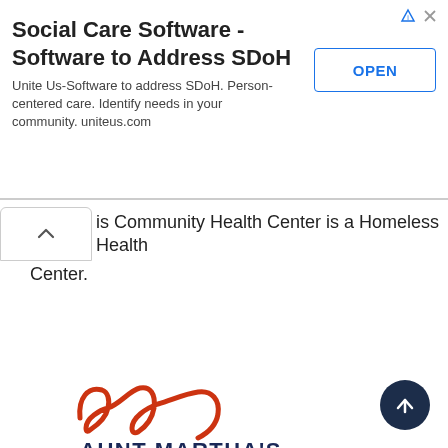[Figure (screenshot): Advertisement banner: 'Social Care Software - Software to Address SDoH' with OPEN button. Unite Us-Software to address SDoH. Person-centered care. Identify needs in your community. uniteus.com]
is Community Health Center is a Homeless Health Center.
[Figure (logo): Aunt Martha's Health & Wellness logo with stylized cursive 'am' in orange-red and bold navy text 'AUNT MARTHA'S HEALTH & WELLNESS']